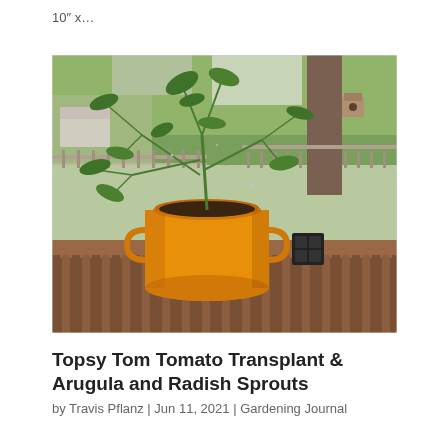10″ x…
[Figure (photo): A tomato plant growing in a bright orange/yellow metal milk churn planter, sitting on a wooden deck railing. Green leafy tomato plant with lush foliage. A small black solar light is beside the planter. Background shows a fenced yard with trees and a house.]
Topsy Tom Tomato Transplant & Arugula and Radish Sprouts
by Travis Pflanz | Jun 11, 2021 | Gardening Journal